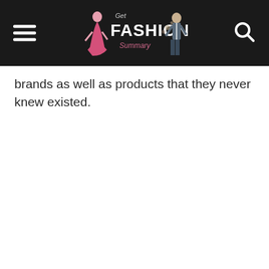Get Fashion Summary
brands as well as products that they never knew existed.